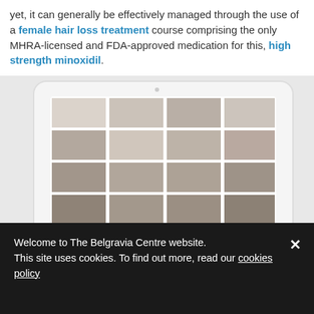yet, it can generally be effectively managed through the use of a female hair loss treatment course comprising the only MHRA-licensed and FDA-approved medication for this, high strength minoxidil.
[Figure (photo): A tablet device displaying a grid of before-and-after hair loss treatment photos, shown at an angle. The tablet shows multiple rows of scalp/hair images in a grid layout.]
Welcome to The Belgravia Centre website. This site uses cookies. To find out more, read our cookies policy